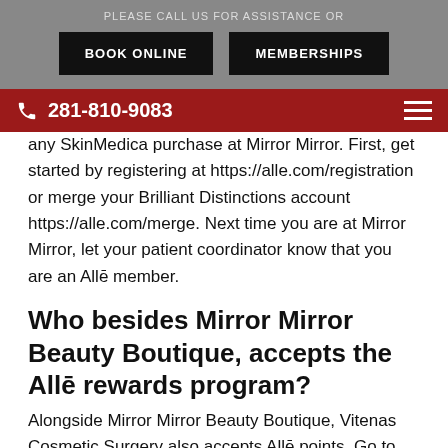PLEASE CALL US FOR ASSISTANCE OR
BOOK ONLINE
MEMBERSHIPS
281-810-9083
any SkinMedica purchase at Mirror Mirror. First, get started by registering at https://alle.com/registration or merge your Brilliant Distinctions account https://alle.com/merge. Next time you are at Mirror Mirror, let your patient coordinator know that you are an Allē member.
Who besides Mirror Mirror Beauty Boutique, accepts the Allē rewards program?
Alongside Mirror Mirror Beauty Boutique, Vitenas Cosmetic Surgery also accepts Allē points. Go to https://alle.com/ to find out more information about your points.